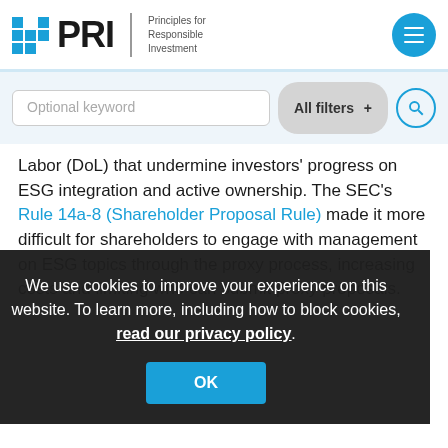PRI – Principles for Responsible Investment
Labor (DoL) that undermine investors' progress on ESG integration and active ownership. The SEC's Rule 14a-8 (Shareholder Proposal Rule) made it more difficult for shareholders to engage with management on ESG topics through the proxy process, increasing costs and limiting who can submit proxy proposals.
We use cookies to improve your experience on this website. To learn more, including how to block cookies, read our privacy policy.
OK
Department of Labor rules